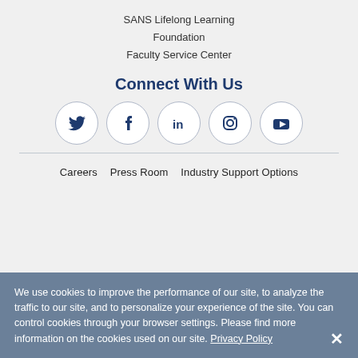SANS Lifelong Learning Foundation
Faculty Service Center
Connect With Us
[Figure (illustration): Five social media icons in circles: Twitter, Facebook, LinkedIn, Instagram, YouTube]
Careers
Press Room
Industry Support Options
We use cookies to improve the performance of our site, to analyze the traffic to our site, and to personalize your experience of the site. You can control cookies through your browser settings. Please find more information on the cookies used on our site. Privacy Policy